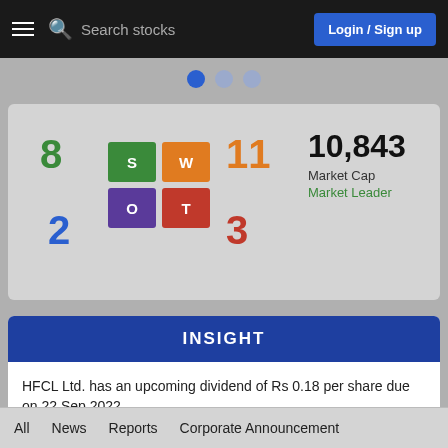Search stocks | Login / Sign up
[Figure (infographic): SWOT matrix with S=8 (green), W=11 (orange), O=2 (blue), T=3 (red), Market Cap 10,843, Market Leader]
INSIGHT
HFCL Ltd. has an upcoming dividend of Rs 0.18 per share due on 22 Sep 2022
SEE DETAILS
All  News  Reports  Corporate Announcement